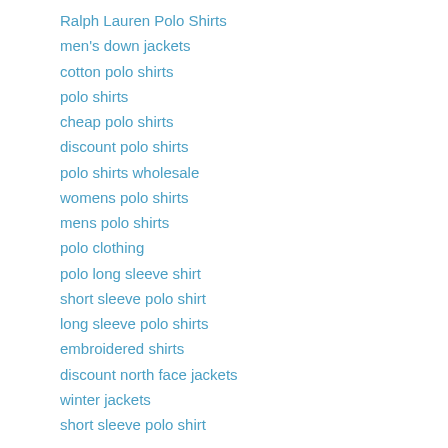Ralph Lauren Polo Shirts
men's down jackets
cotton polo shirts
polo shirts
cheap polo shirts
discount polo shirts
polo shirts wholesale
womens polo shirts
mens polo shirts
polo clothing
polo long sleeve shirt
short sleeve polo shirt
long sleeve polo shirts
embroidered shirts
discount north face jackets
winter jackets
short sleeve polo shirt
Reply
Anonymous  September 13, 2010 at 4:12 AM
Since their popularity pandora sale in Paris during the